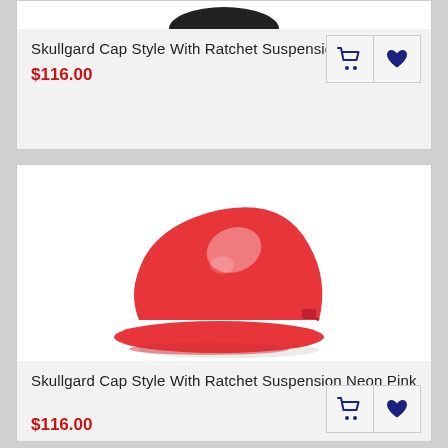[Figure (photo): Partial view of a black hard hat at top of page]
Skullgard Cap Style With Ratchet Suspension Black
$116.00
[Figure (photo): Red Skullgard cap style hard hat with ratchet suspension on white background]
Skullgard Cap Style With Ratchet Suspension Neon Pink
$116.00
[Figure (photo): Partial view of another hard hat at bottom of page, appears red/orange]